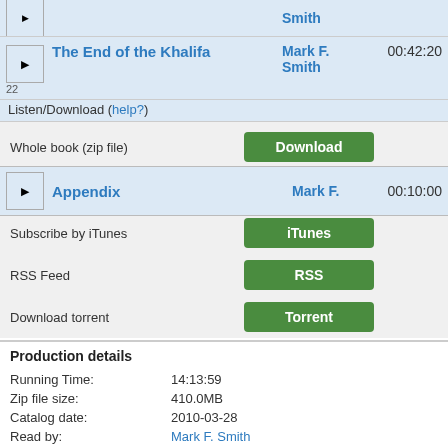22 - Smith (truncated top row)
22 - The End of the Khalifa - Mark F. Smith - 00:42:20
Listen/Download (help?)
Whole book (zip file) - Download button
23 - Appendix - Mark F. - 00:10:00
Subscribe by iTunes - iTunes button
RSS Feed - RSS button
Download torrent - Torrent button
Production details
| Field | Value |
| --- | --- |
| Running Time: | 14:13:59 |
| Zip file size: | 410.0MB |
| Catalog date: | 2010-03-28 |
| Read by: | Mark F. Smith |
| Book Coordinator: | Mark F. Smith |
| Meta Coordinator: | Elizabeth Klett |